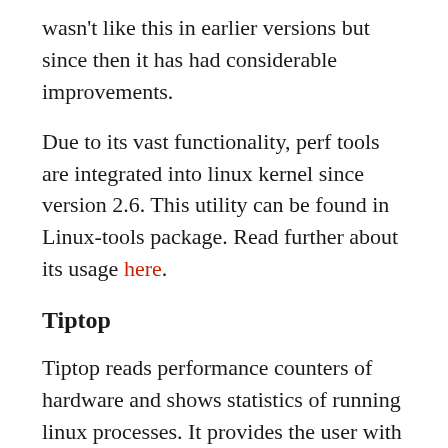wasn't like this in earlier versions but since then it has had considerable improvements.
Due to its vast functionality, perf tools are integrated into linux kernel since version 2.6. This utility can be found in Linux-tools package. Read further about its usage here.
Tiptop
Tiptop reads performance counters of hardware and shows statistics of running linux processes. It provides the user with a dynamic real-time view of processes running in the system.